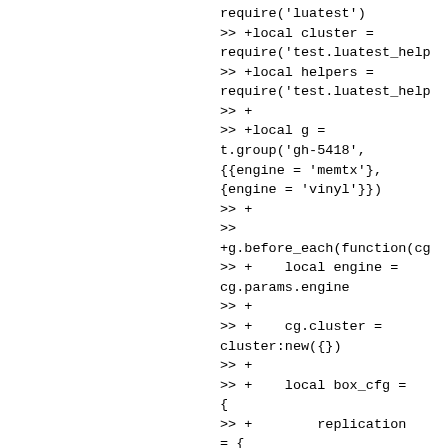require('luatest')
>> +local cluster =
require('test.luatest_help
>> +local helpers =
require('test.luatest_help
>> +
>> +local g =
t.group('gh-5418',
{{engine = 'memtx'},
{engine = 'vinyl'}})
>> +
>>
+g.before_each(function(cg
>> +    local engine =
cg.params.engine
>> +
>> +    cg.cluster =
cluster:new({})
>> +
>> +    local box_cfg =
{
>> +        replication
= {
>> +
helpers.instance_uri('mast
>> +        },
>> +
replication_synchro_quorum
= 2,
>> +